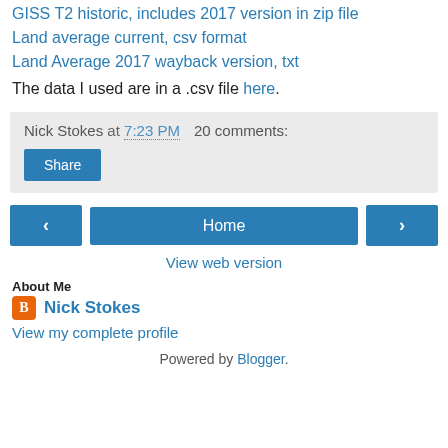GISS T2 historic, includes 2017 version in zip file
Land average current, csv format
Land Average 2017 wayback version, txt
The data I used are in a .csv file here.
Nick Stokes at 7:23 PM   20 comments:
Share
< Home >
View web version
About Me
Nick Stokes
View my complete profile
Powered by Blogger.